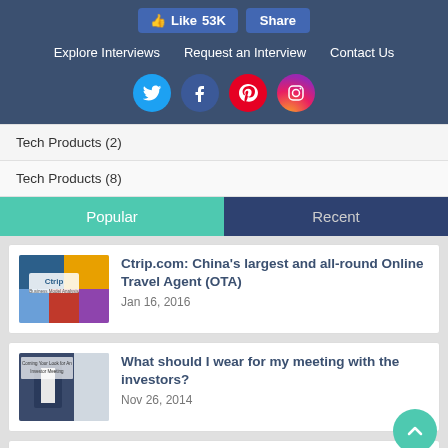Like 53K | Share | Explore Interviews | Request an Interview | Contact Us
[Figure (logo): Social media icons: Twitter, Facebook, Pinterest, Instagram]
Tech Products (2)
Tech Products (8)
Popular | Recent
Ctrip.com: China's largest and all-round Online Travel Agent (OTA)
Jan 16, 2016
What should I wear for my meeting with the investors?
Nov 26, 2014